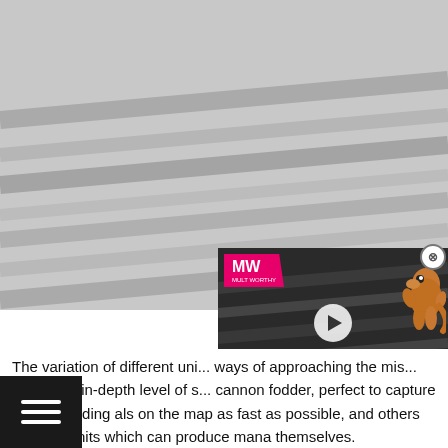[Figure (photo): Background photo of metallic/steel surface with dark diagonal lines, partially visible behind an ad overlay.]
[Figure (screenshot): Advertisement overlay for 'Why You Should Play Digimon Survive' from MWM (Mega Worth Media) with a pink logo bar, play button, title text in white and pink, and a cartoon character (Agumon) on the right.]
The variation of different uni... ways of approaching the mis... extremely in-depth level of s... cannon fodder, perfect to capture game-deciding als on the map as fast as possible, and others are sive units which can produce mana themselves.